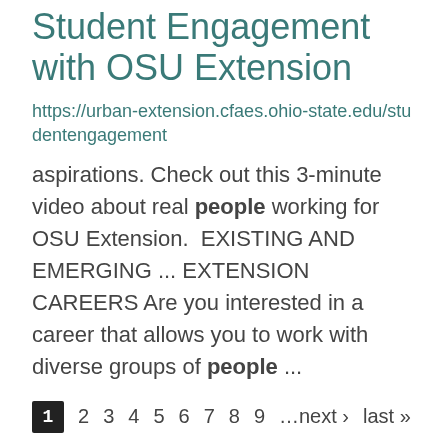Student Engagement with OSU Extension
https://urban-extension.cfaes.ohio-state.edu/studentengagement
aspirations. Check out this 3-minute video about real people working for OSU Extension.  EXISTING AND EMERGING ... EXTENSION CAREERS Are you interested in a career that allows you to work with diverse groups of people ...
1  2  3  4  5  6  7  8  9  …next ›  last »
Social Media
Blog